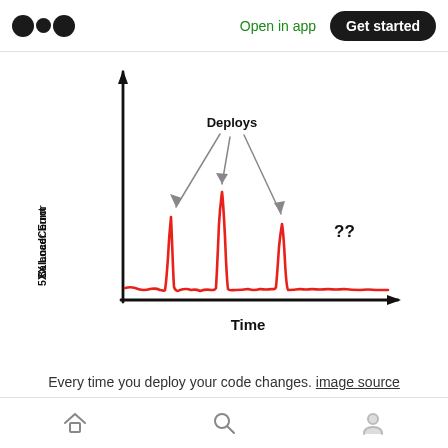Open in app | Get started
[Figure (continuous-plot): Hand-drawn sketch of a time-series chart showing '5XX Load Balancer Error Count' on the y-axis and 'Time' on the x-axis. Three red spikes appear at intervals, labeled 'Deploys' with arrows pointing to each spike. A '??' label appears near the third spike. The baseline is a low red wavy line; each deploy causes a sharp upward spike then return to baseline.]
Every time you deploy your code changes. image source